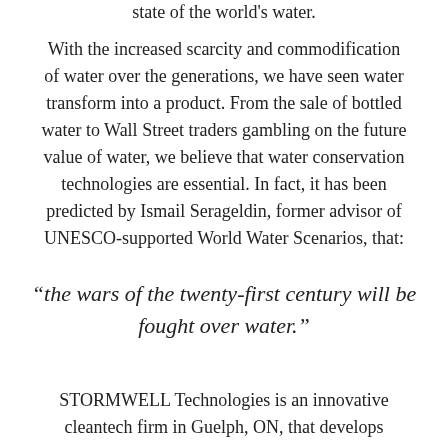state of the world's water.
With the increased scarcity and commodification of water over the generations, we have seen water transform into a product. From the sale of bottled water to Wall Street traders gambling on the future value of water, we believe that water conservation technologies are essential. In fact, it has been predicted by Ismail Serageldin, former advisor of UNESCO-supported World Water Scenarios, that:
“the wars of the twenty-first century will be fought over water.”
STORMWELL Technologies is an innovative cleantech firm in Guelph, ON, that develops